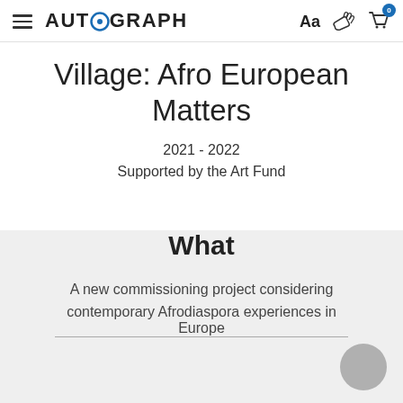AUTOGRAPH — navigation header with hamburger menu, Aa text size control, accessibility icon, and cart icon with badge 0
Village: Afro European Matters
2021 - 2022
Supported by the Art Fund
What
A new commissioning project considering contemporary Afrodiaspora experiences in Europe